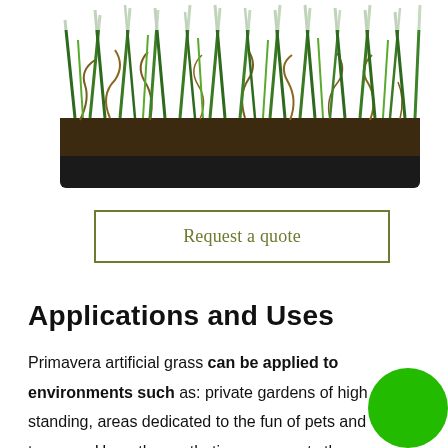[Figure (photo): Close-up photograph of artificial grass turf from above, showing green blades and brown roots/backing material, with a dark tray base.]
Request a quote
Applications and Uses
Primavera artificial grass can be applied to environments such as: private gardens of high standing, areas dedicated to the fun of pets and terraces. Here, the synthetic grass meets the requirements demanded by its use and, in addition, can be applied in commercial areas such as restaurants